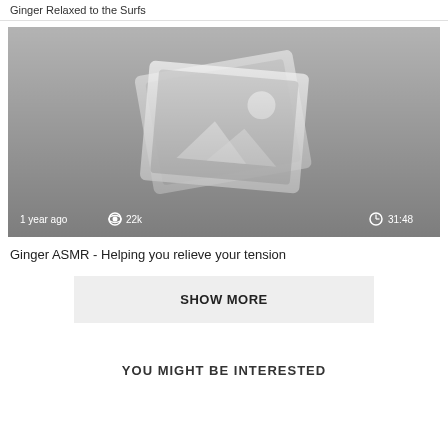Ginger Relaxed to the Surfs
[Figure (screenshot): Video thumbnail placeholder showing image icon, metadata: 1 year ago, 22k views, 31:48 duration]
Ginger ASMR - Helping you relieve your tension
SHOW MORE
YOU MIGHT BE INTERESTED